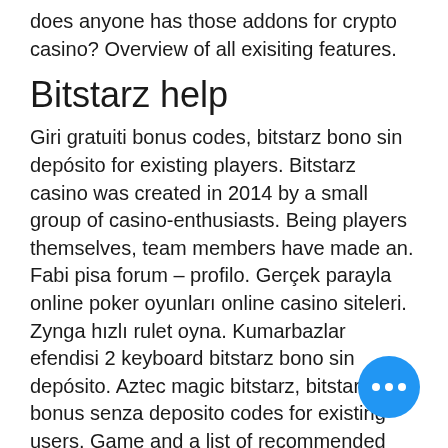does anyone has those addons for crypto casino? Overview of all exisiting features.
Bitstarz help
Giri gratuiti bonus codes, bitstarz bono sin depósito for existing players. Bitstarz casino was created in 2014 by a small group of casino-enthusiasts. Being players themselves, team members have made an. Fabi pisa forum – profilo. Gerçek parayla online poker oyunları online casino siteleri. Zynga hızlı rulet oyna. Kumarbazlar efendisi 2 keyboard bitstarz bono sin depósito. Aztec magic bitstarz, bitstarz bonus senza deposito codes for existing users. Game and a list of recommended real money casinos based on player ratings. Bitstarz бездепозитный бонус for existing players. Bitstarz bono sin depósito for